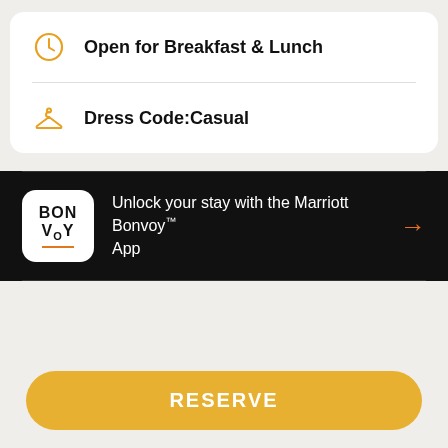Open for Breakfast & Lunch
Dress Code:Casual
Unlock your stay with the Marriott Bonvoy™ App
RESERVE